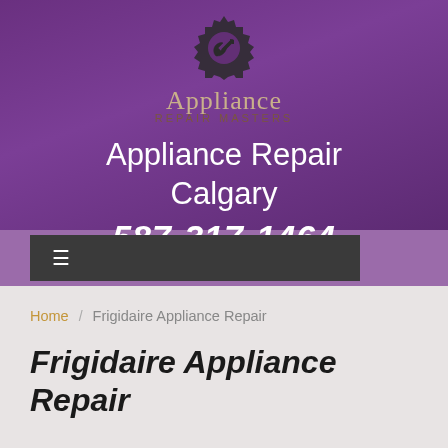[Figure (logo): Appliance Repair Masters logo with gear and wrench icon above the brand name]
Appliance Repair Calgary
587-317-1464
[Figure (other): Navigation bar with hamburger menu icon on dark background]
Home / Frigidaire Appliance Repair
Frigidaire Appliance Repair